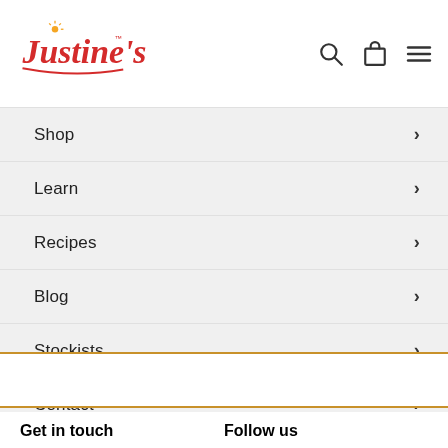[Figure (logo): Justine's logo in red cursive script with orange sun/star accent and TM mark]
Shop
Learn
Recipes
Blog
Stockists
Contact
Get in touch
Follow us